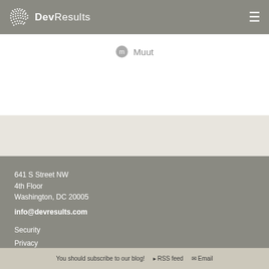DevResults
[Figure (logo): Muut comment platform logo with circle icon and text 'Muut']
641 S Street NW
4th Floor
Washington, DC 20005
info@devresults.com
Security
Privacy
Pricing
You should subscribe to our blog!  ᗟ RSS feed  ✉ Email